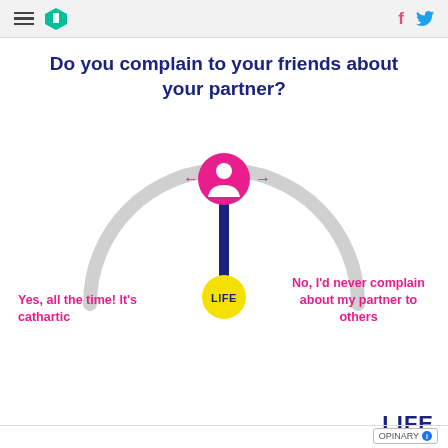HuffPost navigation with social icons
Do you complain to your friends about your partner?
[Figure (infographic): Interactive dial/gauge infographic showing a person icon at the top of a semicircle arc. A needle points straight down to a yellow circle labeled LIFE. Pink arrows point left and right from the person icon. Left label: Yes, all the time! It's cathartic. Right label: No, I'd never complain about my partner to others.]
LIFE | HUFFPOST | OPINARY